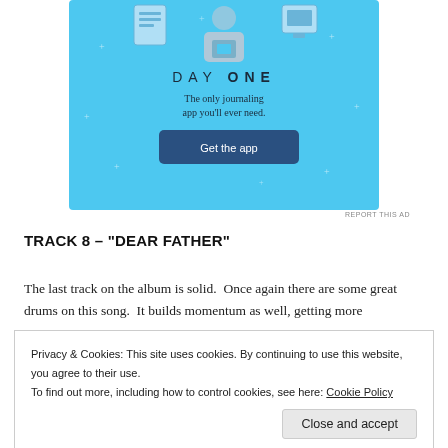[Figure (illustration): Day One journaling app advertisement with blue background, illustration of person holding phone, 'DAY ONE' title, subtitle 'The only journaling app you'll ever need.' and a 'Get the app' button]
REPORT THIS AD
TRACK 8 – "DEAR FATHER"
The last track on the album is solid.  Once again there are some great drums on this song.  It builds momentum as well, getting more
Privacy & Cookies: This site uses cookies. By continuing to use this website, you agree to their use.
To find out more, including how to control cookies, see here: Cookie Policy
Close and accept
album in 2013.  I had my doubts if that was possible, and I am sure